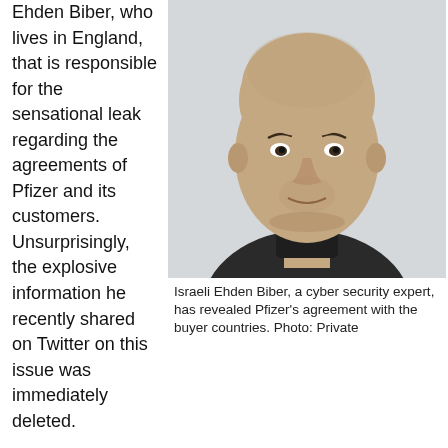Ehden Biber, who lives in England, that is responsible for the sensational leak regarding the agreements of Pfizer and its customers. Unsurprisingly, the explosive information he recently shared on Twitter on this issue was immediately deleted.
[Figure (photo): Headshot photo of Israeli Ehden Biber, a bald man wearing a dark turtleneck, against a light background.]
Israeli Ehden Biber, a cyber security expert, has revealed Pfizer's agreement with the buyer countries. Photo: Private
The basis of Biber's revelation is Albania's agreement with Pfizer, which was published in the newspaper Gogo.al in January. Curiously, not a single journalist investigated the leak or found it interesting enough to report on.
“They should be ashamed,” said Ehden Biber, who has also leaked